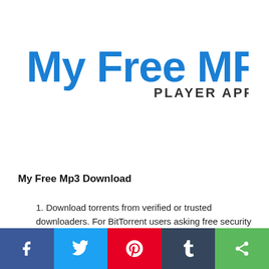[Figure (logo): My Free MP3 Player App logo — blue stylized text 'My Free MP3' with dark subtitle 'PLAYER APP']
My Free Mp3 Download
1. Download torrents from verified or trusted downloaders. For BitTorrent users asking free security...